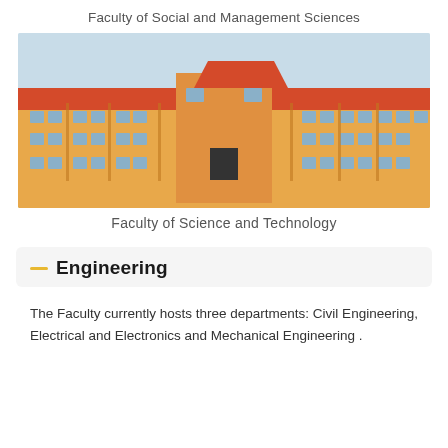Faculty of Social and Management Sciences
[Figure (photo): Photo of the Faculty of Science and Technology building — a multi-storey yellow and orange building with a red roof and many windows, under a clear sky.]
Faculty of Science and Technology
Engineering
The Faculty currently hosts three departments: Civil Engineering, Electrical and Electronics and Mechanical Engineering .